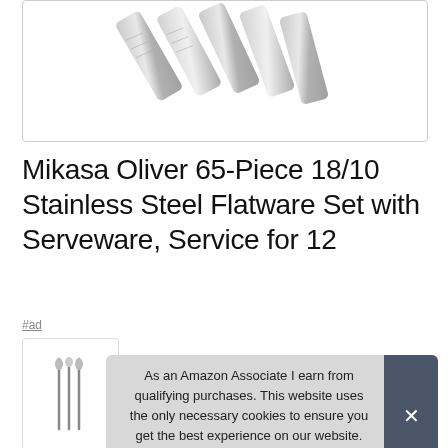[Figure (photo): Product photo showing stainless steel flatware handles arranged diagonally, partially cropped at top]
Mikasa Oliver 65-Piece 18/10 Stainless Steel Flatware Set with Serveware, Service for 12
#ad
[Figure (photo): Small thumbnail of flatware set product image]
As an Amazon Associate I earn from qualifying purchases. This website uses the only necessary cookies to ensure you get the best experience on our website. More information